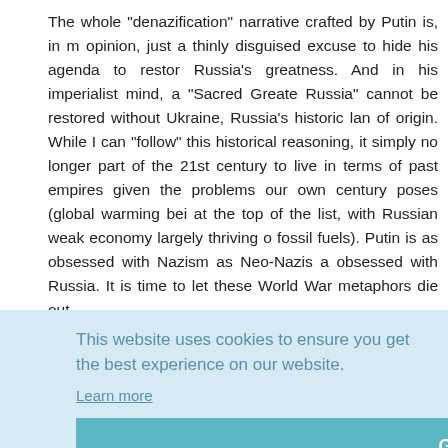The whole "denazification" narrative crafted by Putin is, in my opinion, just a thinly disguised excuse to hide his agenda to restore Russia's greatness. And in his imperialist mind, a "Sacred Greater Russia" cannot be restored without Ukraine, Russia's historic land of origin. While I can "follow" this historical reasoning, it simply is no longer part of the 21st century to live in terms of past empires, given the problems our own century poses (global warming being at the top of the list, with Russian weak economy largely thriving on fossil fuels). Putin is as obsessed with Nazism as Neo-Nazis are obsessed with Russia. It is time to let these World War II metaphors die out.
This website uses cookies to ensure you get the best experience on our website.
Learn more
Got it!
ne is, in th n, the ne be stoppe atters, no so much. gn and D
…the US and its allies have set much more radical goals than th